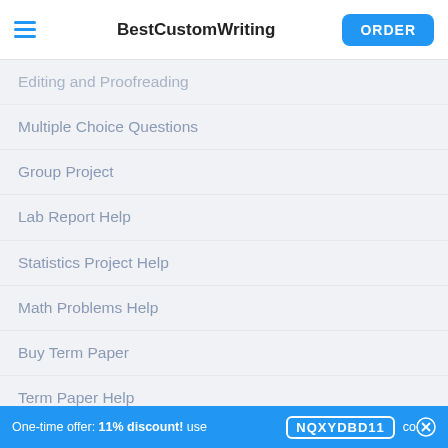BestCustomWriting | ORDER
Editing and Proofreading
Multiple Choice Questions
Group Project
Lab Report Help
Statistics Project Help
Math Problems Help
Buy Term Paper
Term Paper Help
Case Study Help
Complete Coursework for Me
Dissertation Editing Services
Marketing Paper
One-time offer: 11% discount! use NQXYDBD11 code